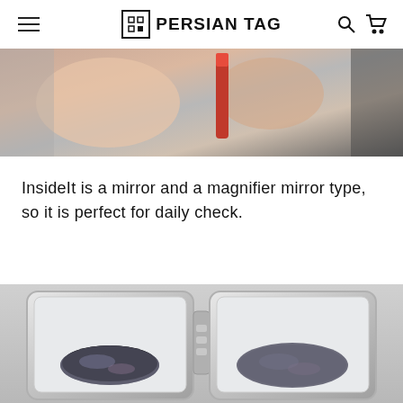PERSIAN TAG
[Figure (photo): Close-up photo of a person holding a red lipstick or cosmetic item near a compact mirror, with another person visible in background]
InsideIt is a mirror and a magnifier mirror type, so it is perfect for daily check.
[Figure (photo): Product photo of an open compact mirror with two sides (regular mirror and magnifier), showing a glitter/stone oval object reflected in both sides, on a gray background]